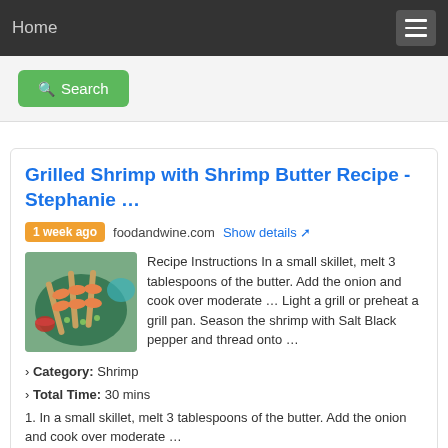Home
Search
Grilled Shrimp with Shrimp Butter Recipe - Stephanie …
1 week ago  foodandwine.com  Show details
[Figure (photo): Photo of grilled shrimp skewers on a plate with garnish]
Recipe Instructions In a small skillet, melt 3 tablespoons of the butter. Add the onion and cook over moderate … Light a grill or preheat a grill pan. Season the shrimp with Salt Black pepper and thread onto …
› Category: Shrimp
› Total Time: 30 mins
1. In a small skillet, melt 3 tablespoons of the butter. Add the onion and cook over moderate …
2. Light a grill or preheat a grill pan. Season the shrimp